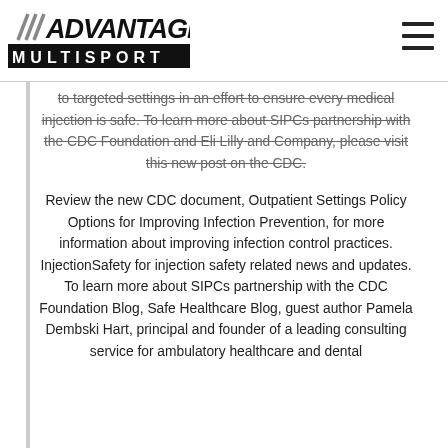Advantage Multisport logo and navigation
[Figure (logo): Advantage Multisport logo with stylized diagonal lines and bold text on black bar]
to targeted settings in an effort to ensure every medical injection is safe. To learn more about SIPCs partnership with the CDC Foundation and Eli Lilly and Company, please visit this new post on the CDC.
Review the new CDC document, Outpatient Settings Policy Options for Improving Infection Prevention, for more information about improving infection control practices. InjectionSafety for injection safety related news and updates. To learn more about SIPCs partnership with the CDC Foundation Blog, Safe Healthcare Blog, guest author Pamela Dembski Hart, principal and founder of a leading consulting service for ambulatory healthcare and dental